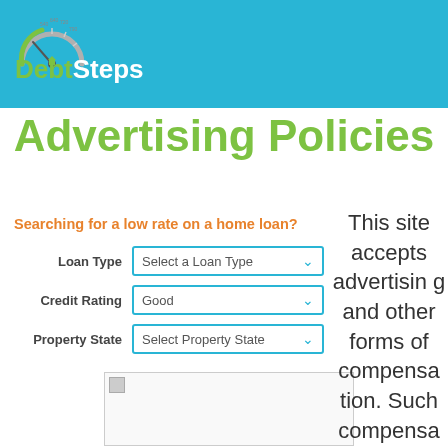DebtSteps
Advertising Policies
Searching for a low rate on a home loan?
Loan Type  Select a Loan Type
Credit Rating  Good
Property State  Select Property State
[Figure (other): Placeholder image thumbnail]
This site accepts advertising and other forms of compensation. Such compensa